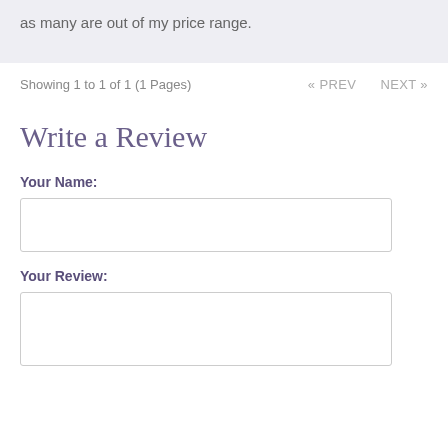as many are out of my price range.
Showing 1 to 1 of 1 (1 Pages)
« PREV    NEXT »
Write a Review
Your Name:
Your Review: